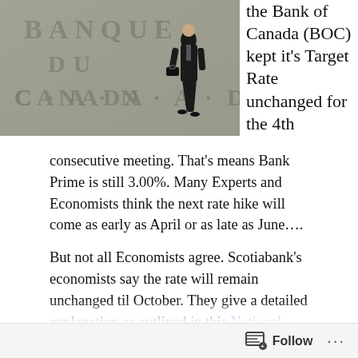[Figure (photo): Photo of a man in a suit walking in front of the Banque du Canada (Bank of Canada) building with carved lettering on stone facade.]
the Bank of Canada (BOC) kept it's Target Rate unchanged for the 4th
consecutive meeting.  That's means Bank Prime is still 3.00%. Many Experts and Economists think the next rate hike will come as early as April or as late as June….
But not all Economists agree.  Scotiabank's economists say the rate will remain unchanged til October.  They give a detailed explanation as outlined in this National Post article… but the main reasons are:
high $Canadian Dollar (an increase by BOC usually increases